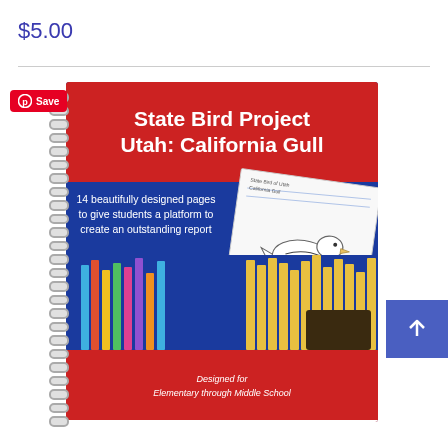$5.00
[Figure (photo): A spiral-bound workbook titled 'State Bird Project Utah: California Gull' with a blue cover, red header, an illustration of a California Gull on a notebook, colorful pencils at the bottom, designed for Elementary through Middle School, with an MTL (My Teaching Library) logo at the bottom.]